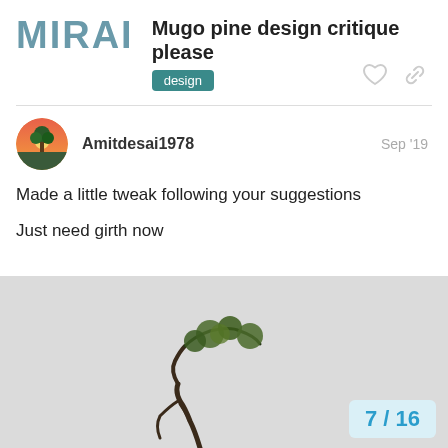MIRAI
Mugo pine design critique please
design
Amitdesai1978
Sep '19
Made a little tweak following your suggestions
Just need girth now
[Figure (photo): Photo of a small mugo pine bonsai tree with green needles in a gray background setting, partially visible at the bottom of the page.]
7 / 16